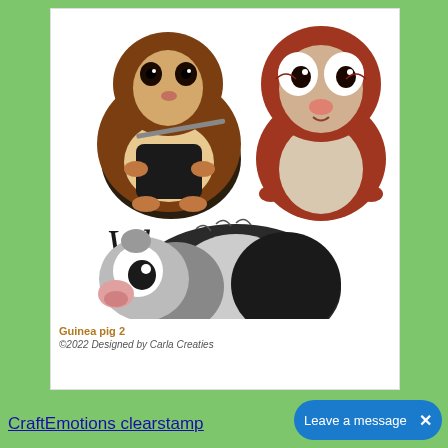[Figure (illustration): Three cartoon guinea pig illustrations on a white card background. Top-left guinea pig is brown/black wearing a dark outfit and holding a stick/flute. Top-right guinea pig is reddish-brown with wide white eyes looking surprised. Bottom guinea pig is black and white striped lying sideways with a large googly eye. In the middle is cursive/script text reading 'Wheek Squad'.]
Guinea pig 2
©2022 Designed by Carla Creaties
CraftEmotions clearstamp
Leave a message  ×